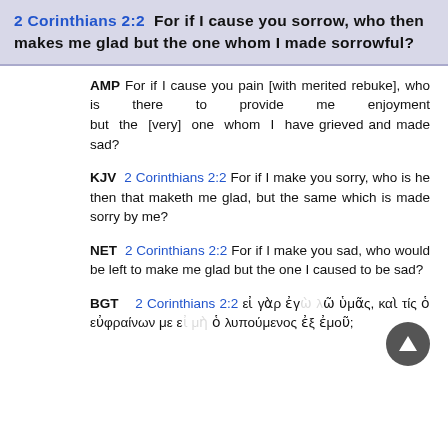2 Corinthians 2:2  For if I cause you sorrow, who then makes me glad but the one whom I made sorrowful?
AMP  For if I cause you pain [with merited rebuke], who is there to provide me enjoyment but the [very] one whom I have grieved and made sad?
KJV  2 Corinthians 2:2  For if I make you sorry, who is he then that maketh me glad, but the same which is made sorry by me?
NET  2 Corinthians 2:2  For if I make you sad, who would be left to make me glad but the one I caused to be sad?
BGT  2 Corinthians 2:2  εἰ γὰρ ἐγὼ λυπῶ ὑμᾶς, καὶ τίς ὁ εὐφραίνων με εἰ μὴ ὁ λυπούμενος ἐξ ἐμοῦ;